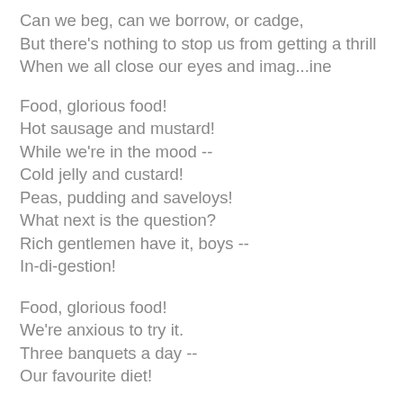Can we beg, can we borrow, or cadge,
But there's nothing to stop us from getting a thrill
When we all close our eyes and imag...ine
Food, glorious food!
Hot sausage and mustard!
While we're in the mood --
Cold jelly and custard!
Peas, pudding and saveloys!
What next is the question?
Rich gentlemen have it, boys --
In-di-gestion!
Food, glorious food!
We're anxious to try it.
Three banquets a day --
Our favourite diet!
Just picture a great big steak --
Fried, roasted or stewed.
Oh, food,
Wonderful food,